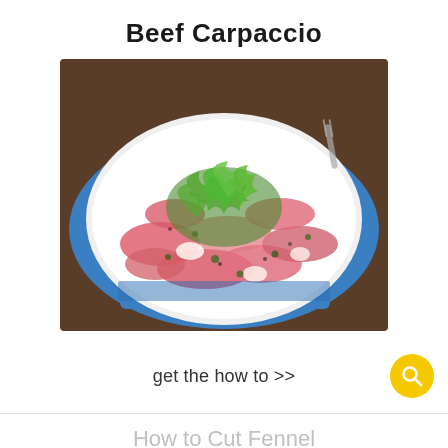Beef Carpaccio
[Figure (photo): A white plate with thinly sliced raw beef carpaccio, topped with fresh arugula leaves and capers, placed on a blue napkin on a wooden table with a fork in the background.]
get the how to >>
How to Cut Fennel